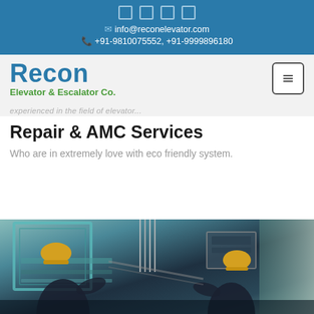info@reconelevator.com | +91-9810075552, +91-9999896180
Recon Elevator & Escalator Co.
Repair & AMC Services
Who are in extremely love with eco friendly system.
[Figure (photo): Two workers in dark uniforms and yellow hard hats performing maintenance work inside an elevator shaft, with teal-colored elevator framework and cables visible.]